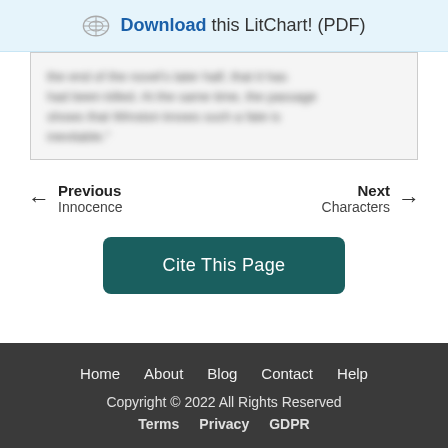Download this LitChart! (PDF)
[blurred quote text from the novel]
← Previous  Innocence        Next →  Characters
Cite This Page
Home  About  Blog  Contact  Help  Copyright © 2022 All Rights Reserved  Terms  Privacy  GDPR